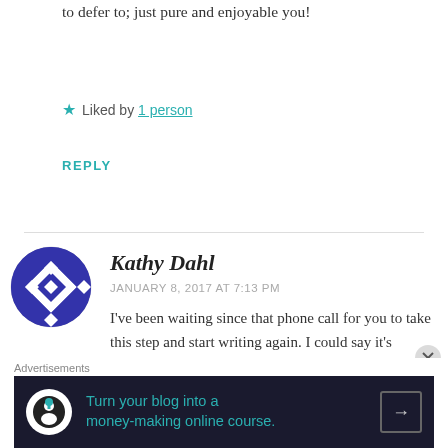to defer to; just pure and enjoyable you!
★ Liked by 1 person
REPLY
[Figure (illustration): Circular avatar with blue and white geometric diamond/quilt pattern]
Kathy Dahl
JANUARY 8, 2017 AT 7:13 PM
I've been waiting since that phone call for you to take this step and start writing again. I could say it's cathartic, it's good for you, it'll keep your
Advertisements
[Figure (infographic): Dark advertisement banner: Turn your blog into a money-making online course. with arrow button]